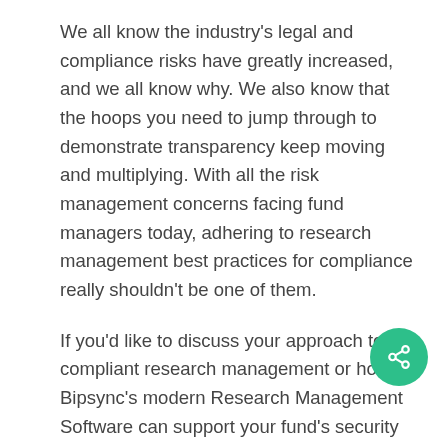We all know the industry's legal and compliance risks have greatly increased, and we all know why. We also know that the hoops you need to jump through to demonstrate transparency keep moving and multiplying. With all the risk management concerns facing fund managers today, adhering to research management best practices for compliance really shouldn't be one of them.
If you'd like to discuss your approach to compliant research management or how Bipsync's modern Research Management Software can support your fund's security posture, get in touch.